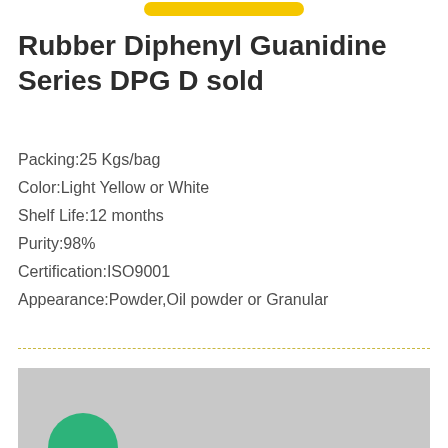Rubber Diphenyl Guanidine Series DPG D sold
Packing:25 Kgs/bag
Color:Light Yellow or White
Shelf Life:12 months
Purity:98%
Certification:ISO9001
Appearance:Powder,Oil powder or Granular
[Figure (photo): Gray background image with a green circular logo/icon partially visible at the bottom left]